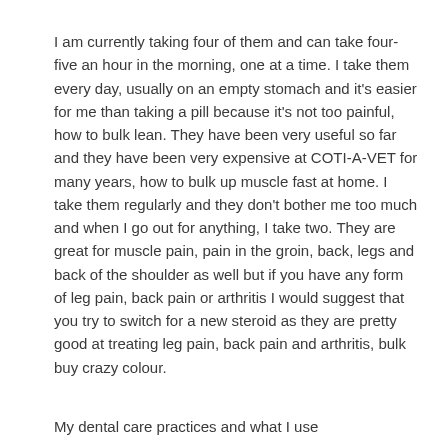I am currently taking four of them and can take four-five an hour in the morning, one at a time. I take them every day, usually on an empty stomach and it's easier for me than taking a pill because it's not too painful, how to bulk lean. They have been very useful so far and they have been very expensive at COTI-A-VET for many years, how to bulk up muscle fast at home. I take them regularly and they don't bother me too much and when I go out for anything, I take two. They are great for muscle pain, pain in the groin, back, legs and back of the shoulder as well but if you have any form of leg pain, back pain or arthritis I would suggest that you try to switch for a new steroid as they are pretty good at treating leg pain, back pain and arthritis, bulk buy crazy colour.
My dental care practices and what I use